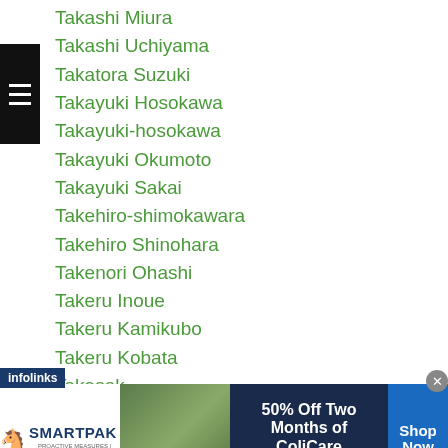Takashi Miura
Takashi Uchiyama
Takatora Suzuki
Takayuki Hosokawa
Takayuki-hosokawa
Takayuki Okumoto
Takayuki Sakai
Takehiro-shimokawara
Takehiro Shinohara
Takenori Ohashi
Takeru Inoue
Takeru Kamikubo
Takeru Kobata
Takesak
Takeshi Inoue
...i Takehara
[Figure (screenshot): SmartPak advertisement banner: 50% Off Two Months of ColiCare, ColiCare Eligible Supplements, CODE: COLICARE10, Shop Now button]